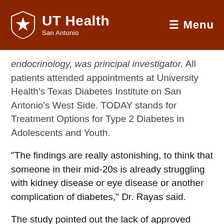UT Health San Antonio — Menu
endocrinology, was principal investigator. All patients attended appointments at University Health's Texas Diabetes Institute on San Antonio's West Side. TODAY stands for Treatment Options for Type 2 Diabetes in Adolescents and Youth.
“The findings are really astonishing, to think that someone in their mid-20s is already struggling with kidney disease or eye disease or another complication of diabetes,” Dr. Rayas said.
The study pointed out the lack of approved medications for children under 18 diagnosed with